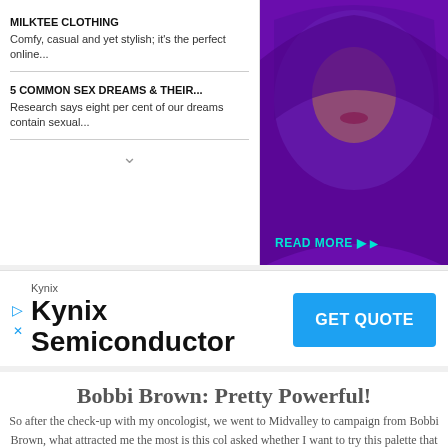MILKTEE CLOTHING
Comfy, casual and yet stylish; it's the perfect online...
5 COMMON SEX DREAMS & THEIR...
Research says eight per cent of our dreams contain sexual...
[Figure (photo): Woman in purple hijab with READ MORE button]
[Figure (infographic): Kynix Semiconductor advertisement banner with GET QUOTE button]
Bobbi Brown: Pretty Powerful!
So after the check-up with my oncologist, we went to Midvalley to campaign from Bobbi Brown, what attracted me the most is this col asked whether I want to try this palette that they are currently prome thought, I really love the Pretty Powerful tagline (as that was how BRING IT ON girl! Hehe, so there goes my journey .. Luckily I was lipbalm & a touch of brown e